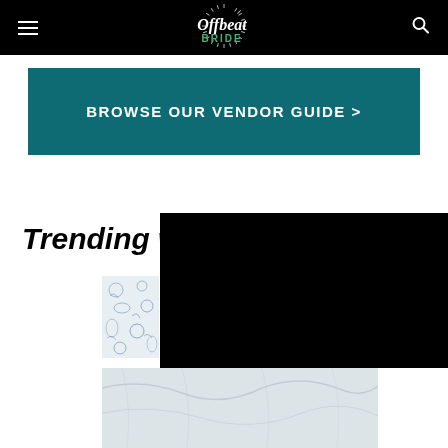Offbeat BRIDE — navigation header with hamburger menu and search icon
[Figure (screenshot): Offbeat Bride logo in white italic script with green BRIDE text and decorative sunburst, centered in black header bar]
[Figure (infographic): Teal/dark cyan banner button reading BROWSE OUR VENDOR GUIDE >]
Trending w
[Figure (screenshot): Black video player overlay partially covering the Trending section]
[Figure (photo): Small thumbnail of blue and white toile fabric pattern]
[Figure (photo): Partially visible marble or light stone textured image at bottom of page]